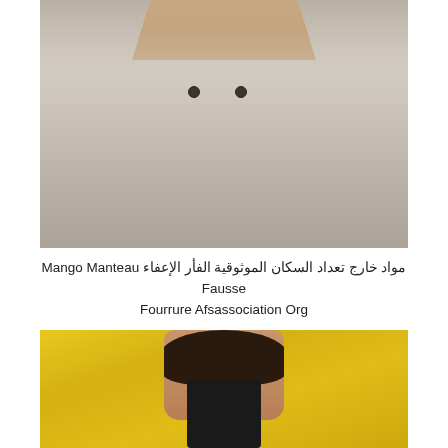[Figure (photo): Close-up photo of a person wearing a light grey/beige faux fur teddy coat, hands clasped in front, showing the coat's texture and two buttons]
مواد خارج تعداد السكان الموثوقية الفأر الإعفاء Mango Manteau Fausse Fourrure Afsassociation Org
[Figure (photo): Woman with short dark curly hair and red lips wearing a bright yellow faux fur coat over a black top]